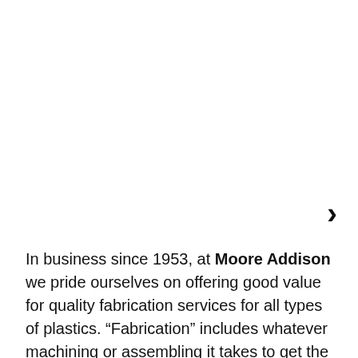[Figure (other): Navigation chevron/arrow pointing right]
In business since 1953, at Moore Addison we pride ourselves on offering good value for quality fabrication services for all types of plastics. “Fabrication” includes whatever machining or assembling it takes to get the customer consistently good parts that work consistently. We do everything to plastics except mold